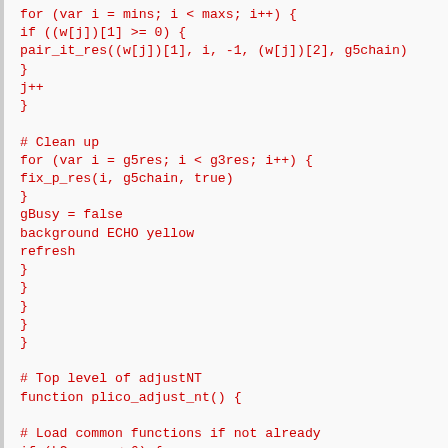[Figure (screenshot): Code snippet in red monospace font on light gray background showing a script or programming language with loops, function calls, and comments including pair_it_res, fix_p_res, gBusy, background ECHO yellow, refresh, plico_adjust_nt function definition, and kCommon checks.]